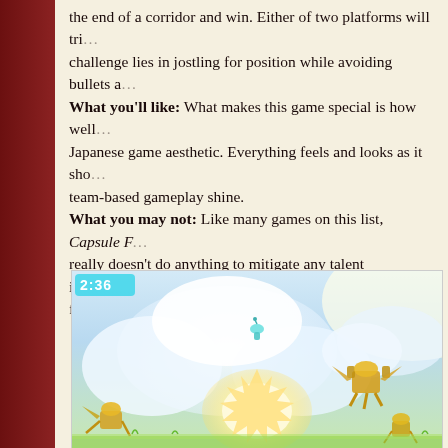the end of a corridor and win. Either of two platforms will trigger the challenge lies in jostling for position while avoiding bullets a... What you'll like: What makes this game special is how well the Japanese game aesthetic. Everything feels and looks as it sho... team-based gameplay shine. What you may not: Like many games on this list, Capsule F... really doesn't do anything to mitigate any talent imbalances. frustrated quickly.
[Figure (screenshot): A screenshot of a colorful Japanese-style action game showing characters fighting in a sky environment with clouds. A timer reads 2:36 in the upper portion. Golden/yellow creatures and characters are visible in combat.]